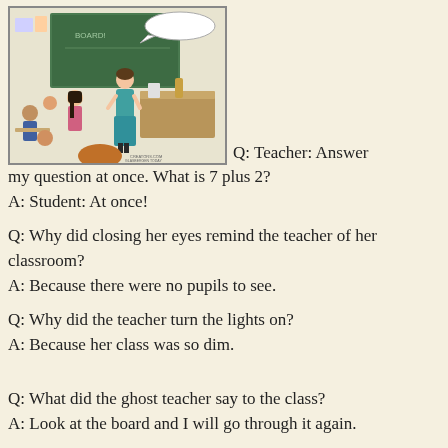[Figure (illustration): Cartoon of a classroom scene with a teacher standing at the front and students at their desks.]
Q: Teacher: Answer my question at once. What is 7 plus 2?
A: Student: At once!
Q: Why did closing her eyes remind the teacher of her classroom?
A: Because there were no pupils to see.
Q: Why did the teacher turn the lights on?
A: Because her class was so dim.
Q: What did the ghost teacher say to the class?
A: Look at the board and I will go through it again.
Q: Why did the teacher write on the window?